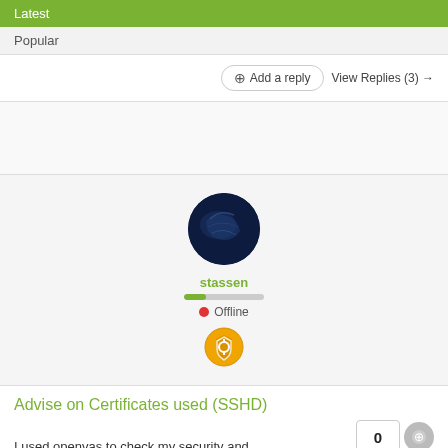Latest
Popular
⊕ Add a reply   View Replies (3) →
[Figure (photo): User avatar — circular photo showing a dark globe/earth image]
stassen
● Offline
[Figure (illustration): Golden shield badge icon with a star/lock symbol]
Advise on Certificates used (SSHD)
I used openvas to check my security and
0